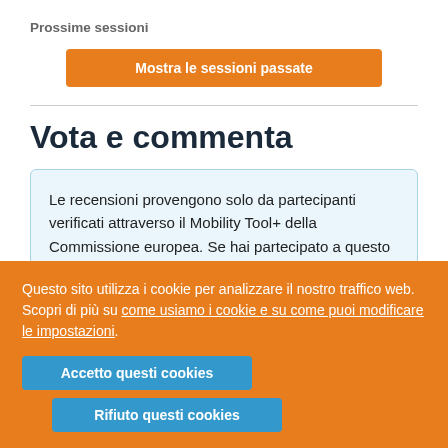Prossime sessioni
Mostra le sessioni passate
Vota e commenta
Le recensioni provengono solo da partecipanti verificati attraverso il Mobility Tool+ della Commissione europea. Se hai partecipato a questo corso, utilizza il Mobility Tool+ per inviare
Questo sito utilizza i cookie per analizzare il nostro traffico web. Scopri di più su come usiamo i cookie e su come puoi modificare le impostazioni.
Accetto questi cookies
Rifiuto questi cookies